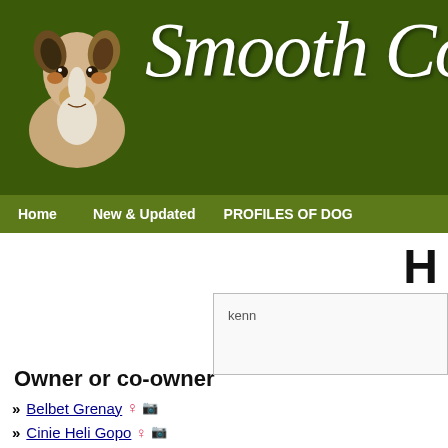[Figure (screenshot): Website header showing a smooth collie dog photo on the left and the text 'Smooth Collie Da' in large italic script on a dark olive green background]
Home   New & Updated   PROFILES OF DOG
H
kenn
Owner or co-owner
Belbet Grenay ♀ 📷
Cinie Heli Gopo ♀ 📷
Clingstone's King Himself ♂ 📷
Legend of Camelot's Annrose ♀ 📷
Legend of Camelot's Catch A Star ♀ 📷
Legend of Camelot's Desert Sun ♀ 📷
Legend of Camelot's Guardian Angel ♀ 📷
Legend of Camelot's Hearts Desire ♀ 📷